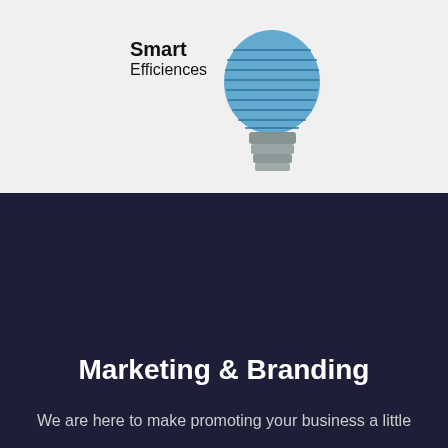[Figure (logo): Smart Efficiences logo with a light bulb illustration in blue and gray, with bold text 'Smart' and regular text 'Efficiences' to the left of the bulb]
Marketing & Branding
We are here to make promoting your business a little